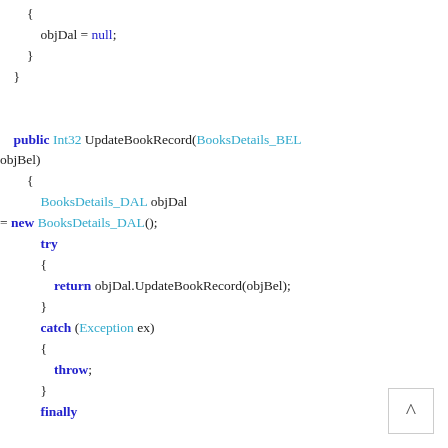{ objDal = null; } } public Int32 UpdateBookRecord(BooksDetails_BEL objBel) { BooksDetails_DAL objDal = new BooksDetails_DAL(); try { return objDal.UpdateBookRecord(objBel); } catch (Exception ex) { throw; } finally